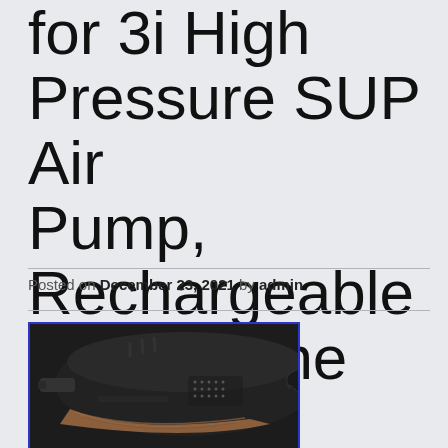for 3i High Pressure SUP Air Pump, Rechargeable Battery The Whale
Posted on December 23, 2021 by admin
[Figure (photo): Photo of a black whale-shaped SUP air pump device with wood grain accent and dotted pattern, shown against a dark background, framed with a blue border]